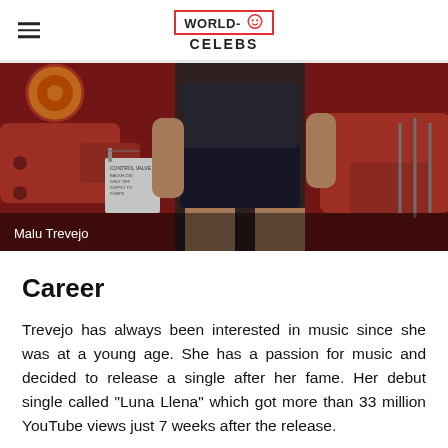WORLD-CELEBS
[Figure (photo): Photo of Malu Trevejo standing in front of red industrial equipment with chains and valves. Person wearing dark shorts and shirt.]
Malu Trevejo
Career
Trevejo has always been interested in music since she was at a young age. She has a passion for music and decided to release a single after her fame. Her debut single called "Luna Llena" which got more than 33 million YouTube views just 7 weeks after the release.